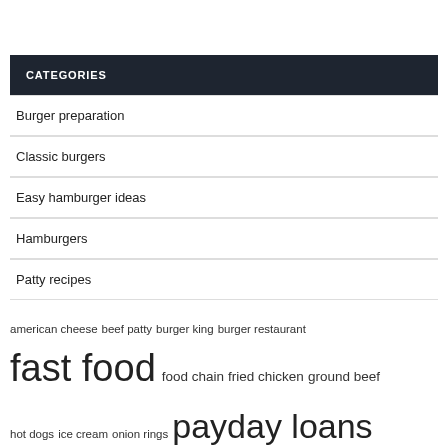CATEGORIES
Burger preparation
Classic burgers
Easy hamburger ideas
Hamburgers
Patty recipes
american cheese  beef patty  burger king  burger restaurant  fast food  food chain  fried chicken  ground beef  hot dogs  ice cream  onion rings  payday loans